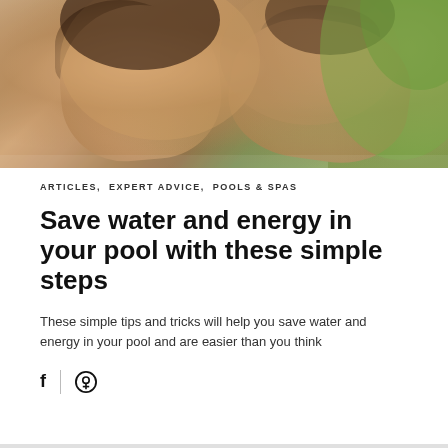[Figure (photo): Two people (a woman and a man) lying down outdoors, appearing relaxed, with greenery in the background. The woman is in the foreground wearing a white top, the man is behind her.]
ARTICLES,  EXPERT ADVICE,  POOLS & SPAS
Save water and energy in your pool with these simple steps
These simple tips and tricks will help you save water and energy in your pool and are easier than you think
f  |  ⊕